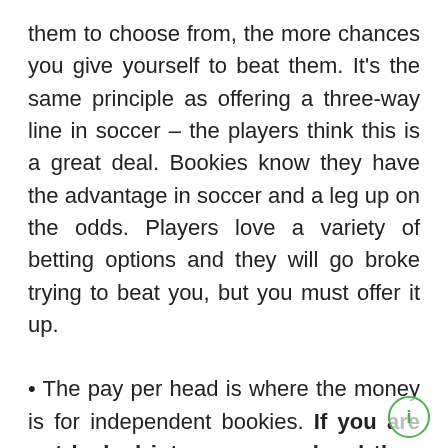them to choose from, the more chances you give yourself to beat them. It's the same principle as offering a three-way line in soccer – the players think this is a great deal. Bookies know they have the advantage in soccer and a leg up on the odds. Players love a variety of betting options and they will go broke trying to beat you, but you must offer it up.
• The pay per head is where the money is for independent bookies. If you are not locked into a pay per head then you are losing money, plain and simple. What the PPH providers have done is come up with software for bookies that offers the options players are looking for. Now you have the